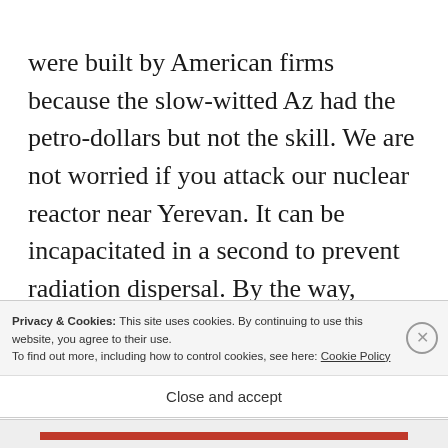were built by American firms because the slow-witted Az had the petro-dollars but not the skill. We are not worried if you attack our nuclear reactor near Yerevan. It can be incapacitated in a second to prevent radiation dispersal. By the way, Erdogan and Aliev and Turd's defense minister are dead men. Our avengers
Privacy & Cookies: This site uses cookies. By continuing to use this website, you agree to their use.
To find out more, including how to control cookies, see here: Cookie Policy
Close and accept